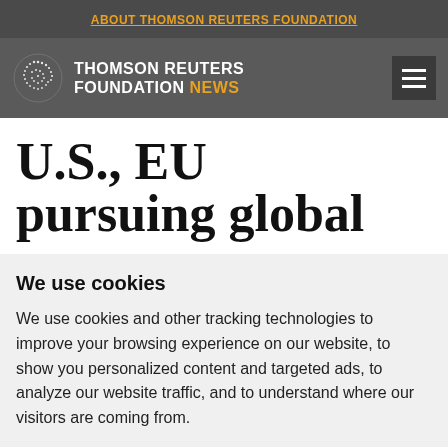ABOUT THOMSON REUTERS FOUNDATION
[Figure (logo): Thomson Reuters Foundation News logo with spiral dot icon and text 'THOMSON REUTERS FOUNDATION NEWS' on dark grey background with hamburger menu icon]
U.S., EU pursuing global
We use cookies
We use cookies and other tracking technologies to improve your browsing experience on our website, to show you personalized content and targeted ads, to analyze our website traffic, and to understand where our visitors are coming from.